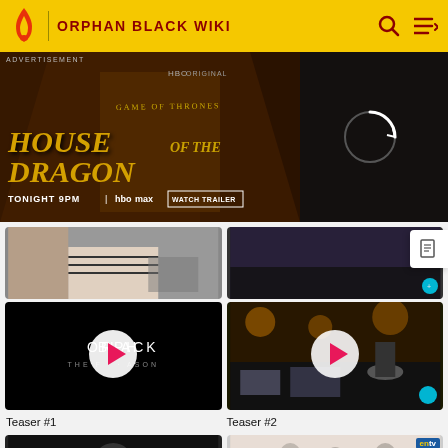ORPHAN BLACK WIKI
[Figure (photo): Advertisement banner for House of the Dragon on HBO Max, Tonight 9PM, with Watch Trailer button]
ADVERTISEMENT
[Figure (screenshot): Video thumbnail row - partial view of two video thumbnails]
[Figure (screenshot): Video thumbnail: Orphan Black - The Final Season teaser with play button]
[Figure (screenshot): Video thumbnail: Orphan Black street scene teaser with play button]
Teaser #1
Teaser #2
[Figure (screenshot): Bottom row: two partial video thumbnails - one dark/blurred, one cast interview from entv]